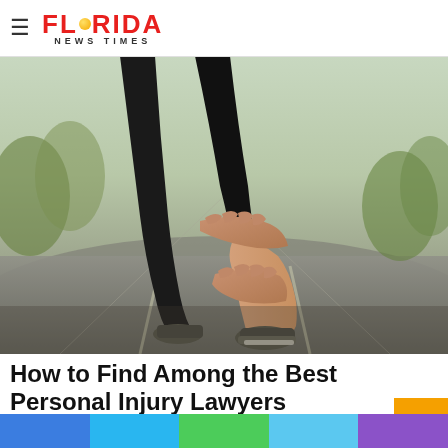Top 10 Exclusive Scholarships for Moms
[Figure (logo): Florida News Times logo with red FLORIDA text, orange dot in the O, and NEWS TIMES subtitle]
[Figure (photo): Person holding their injured leg/calf while standing on a road, wearing black shorts and gray running shoes]
How to Find Among the Best Personal Injury Lawyers
pruig.com | Sponsored